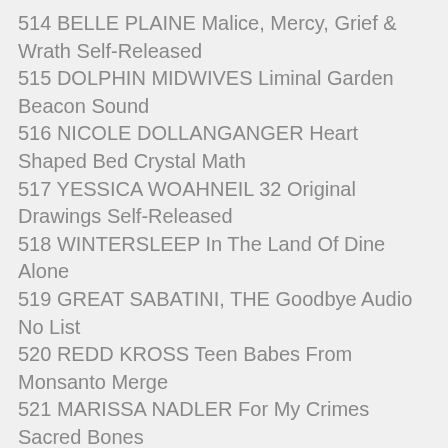514 BELLE PLAINE Malice, Mercy, Grief & Wrath Self-Released
515 DOLPHIN MIDWIVES Liminal Garden Beacon Sound
516 NICOLE DOLLANGANGER Heart Shaped Bed Crystal Math
517 YESSICA WOAHNEIL 32 Original Drawings Self-Released
518 WINTERSLEEP In The Land Of Dine Alone
519 GREAT SABATINI, THE Goodbye Audio No List
520 REDD KROSS Teen Babes From Monsanto Merge
521 MARISSA NADLER For My Crimes Sacred Bones
522 RHETT REPKO Thnx for the Ride Self-Released
523 ALICE COOPER Live From The Astroturf Good
524 HARRIET BROWN Mall Of Fortune Innovative